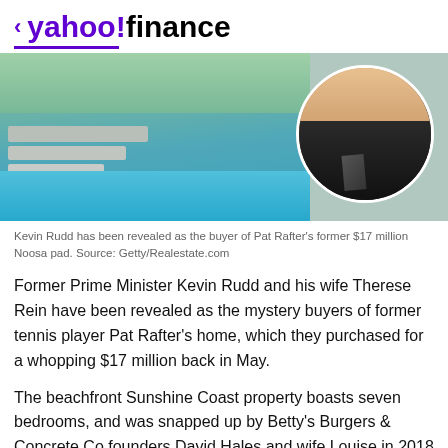< yahoo!finance
[Figure (photo): Photo of a beachfront luxury property with a pool and steps on the left, and a circular portrait of Kevin Rudd on the right]
Kevin Rudd has been revealed as the buyer of Pat Rafter's former $17 million Noosa pad. Source: Getty/Realestate.com
Former Prime Minister Kevin Rudd and his wife Therese Rein have been revealed as the mystery buyers of former tennis player Pat Rafter's home, which they purchased for a whopping $17 million back in May.
The beachfront Sunshine Coast property boasts seven bedrooms, and was snapped up by Betty's Burgers & Concrete Co founders David Hales and wife Louise in 2018 for $15.2 million.